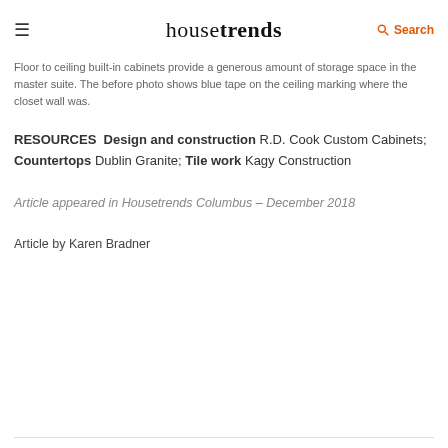housetrends | Search
Floor to ceiling built-in cabinets provide a generous amount of storage space in the master suite. The before photo shows blue tape on the ceiling marking where the closet wall was.
RESOURCES Design and construction R.D. Cook Custom Cabinets; Countertops Dublin Granite; Tile work Kagy Construction
Article appeared in Housetrends Columbus – December 2018
Article by Karen Bradner